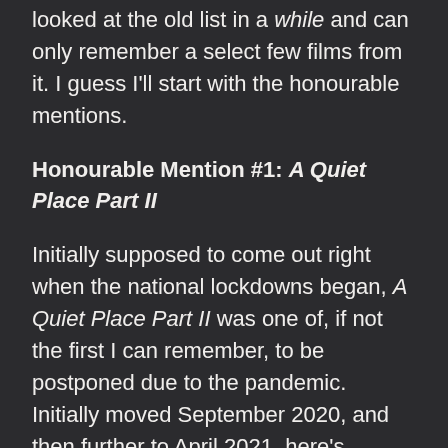looked at the old list in a while and can only remember a select few films from it. I guess I'll start with the honourable mentions.
Honourable Mention #1: A Quiet Place Part II
Initially supposed to come out right when the national lockdowns began, A Quiet Place Part II was one of, if not the first I can remember, to be postponed due to the pandemic. Initially moved September 2020, and then further to April 2021, here's hoping we can see the second instalment when planned! I actually think it looks better than